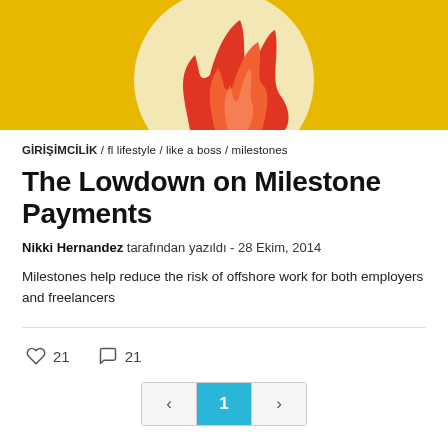[Figure (illustration): Yellow banner with illustrated hands holding a fire/torch graphic in red and orange tones on a cream/white circular background]
GİRİŞİMCİLİK / fl lifestyle / like a boss / milestones
The Lowdown on Milestone Payments
Nikki Hernandez tarafından yazıldı - 28 Ekim, 2014
Milestones help reduce the risk of offshore work for both employers and freelancers
♡ 21   ○ 21
‹ 1 ›